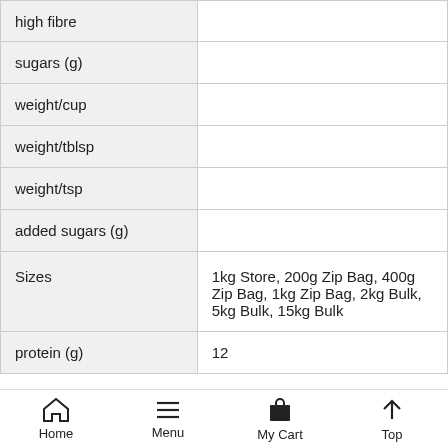|  |  |
| --- | --- |
| high fibre |  |
| sugars (g) |  |
| weight/cup |  |
| weight/tblsp |  |
| weight/tsp |  |
| added sugars (g) |  |
| Sizes | 1kg Store, 200g Zip Bag, 400g Zip Bag, 1kg Zip Bag, 2kg Bulk, 5kg Bulk, 15kg Bulk |
| protein (g) | 12 |
Home  Menu  My Cart  Top